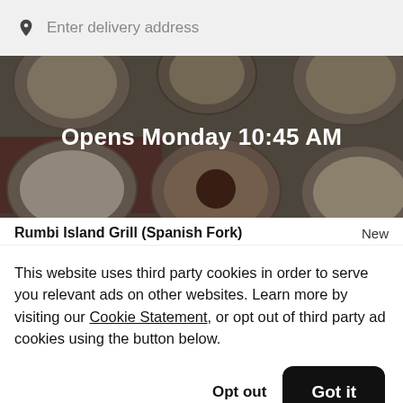Enter delivery address
[Figure (photo): Food delivery app hero image showing overhead view of various food bowls on a table with dark overlay and text 'Opens Monday 10:45 AM']
Rumbi Island Grill (Spanish Fork)   New
This website uses third party cookies in order to serve you relevant ads on other websites. Learn more by visiting our Cookie Statement, or opt out of third party ad cookies using the button below.
Opt out   Got it